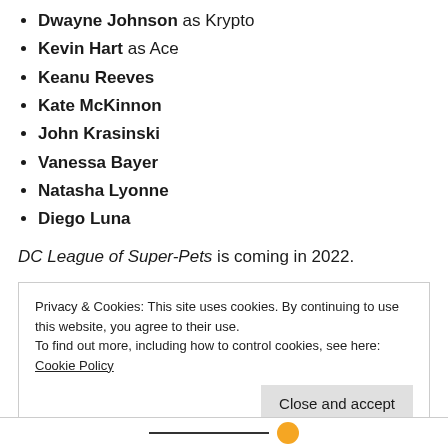Dwayne Johnson as Krypto
Kevin Hart as Ace
Keanu Reeves
Kate McKinnon
John Krasinski
Vanessa Bayer
Natasha Lyonne
Diego Luna
DC League of Super-Pets is coming in 2022.
Privacy & Cookies: This site uses cookies. By continuing to use this website, you agree to their use.
To find out more, including how to control cookies, see here: Cookie Policy